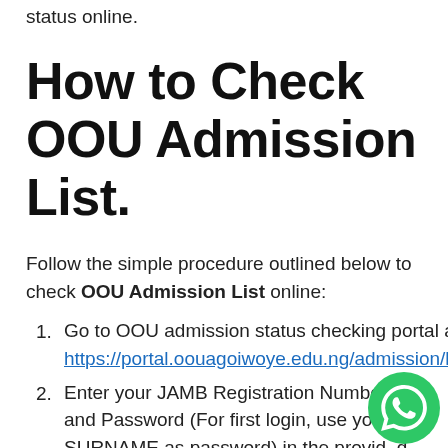status online.
How to Check OOU Admission List.
Follow the simple procedure outlined below to check OOU Admission List online:
Go to OOU admission status checking portal at https://portal.oouagoiwoye.edu.ng/admission/login.php.
Enter your JAMB Registration Number and Password (For first login, use your SURNAME as password) in the provided columns.
Finally, click the “Login” button to